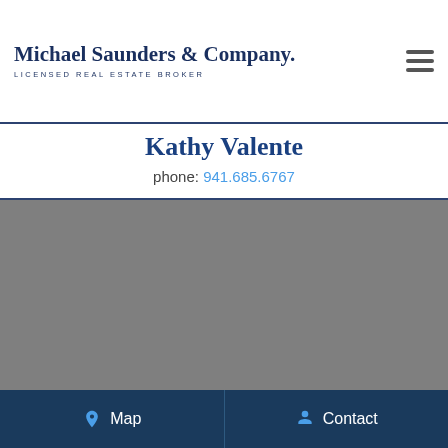Michael Saunders & Company. LICENSED REAL ESTATE BROKER
Kathy Valente
phone: 941.685.6767
[Figure (photo): Gray placeholder photo area for agent profile image]
Map   Contact